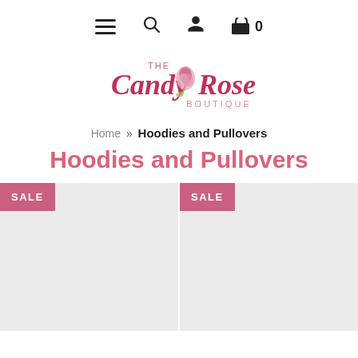Navigation bar with hamburger menu, search, user, and cart (0) icons
[Figure (logo): The Candy Rose Boutique logo with cursive pink text and a pink rose illustration]
Home » Hoodies and Pullovers
Hoodies and Pullovers
[Figure (photo): Product card with SALE badge, light gray background placeholder image]
[Figure (photo): Product card with SALE badge, light gray background placeholder image]